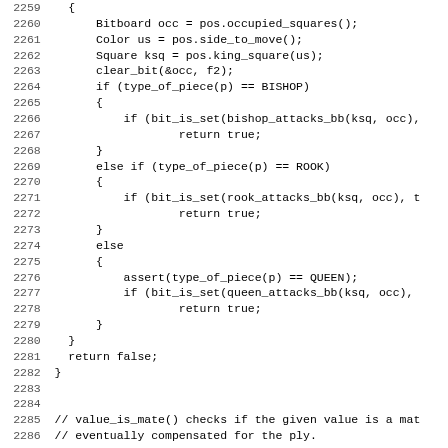Source code listing lines 2260-2291 showing C++ chess engine code with functions for checking piece types (BISHOP, ROOK, QUEEN) and value_is_mate function.